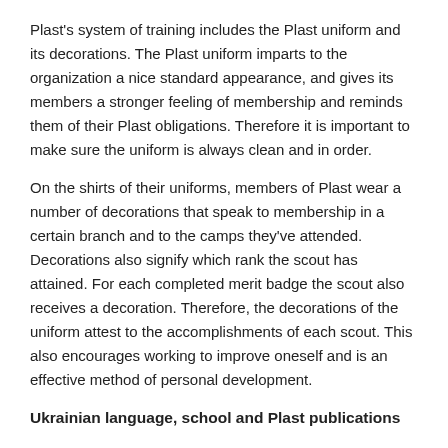Plast's system of training includes the Plast uniform and its decorations. The Plast uniform imparts to the organization a nice standard appearance, and gives its members a stronger feeling of membership and reminds them of their Plast obligations. Therefore it is important to make sure the uniform is always clean and in order.
On the shirts of their uniforms, members of Plast wear a number of decorations that speak to membership in a certain branch and to the camps they've attended. Decorations also signify which rank the scout has attained. For each completed merit badge the scout also receives a decoration. Therefore, the decorations of the uniform attest to the accomplishments of each scout. This also encourages working to improve oneself and is an effective method of personal development.
Ukrainian language, school and Plast publications
Plast requires the knowledge and use of the Ukrainian language to execute its goal: the development of an outstanding Ukrainian individual. Only use of their native language can allow youths to fully appreciate the wealth of the thousand-year-old Ukrainian culture and impart the ideas that reflect the soul of their own nation.
This requirement is necessary because if members of a riy or hurtok have a